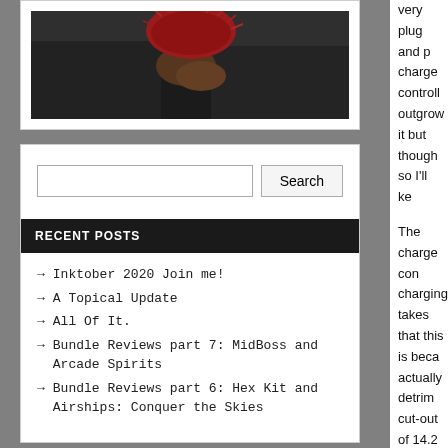[Figure (photo): A person wearing a dark jacket holding or wearing a red frayed/textured object, dark background]
Search button
RECENT POSTS
Inktober 2020 Join me!
A Topical Update
All Of It.
Bundle Reviews part 7: MidBoss and Arcade Spirits
Bundle Reviews part 6: Hex Kit and Airships: Conquer the Skies
CATEGORIES
Art
very plug and p charge controll outgrow it but though so I'll ke
The charge con charging takes that this is beca actually detrim cut-out of 14.2 theoretical max are very good n
The Panel and c King… I don't re hours… it was research it.
Coming out of inverters eat a enough for an a 12 volt powe this point to try lighting as well